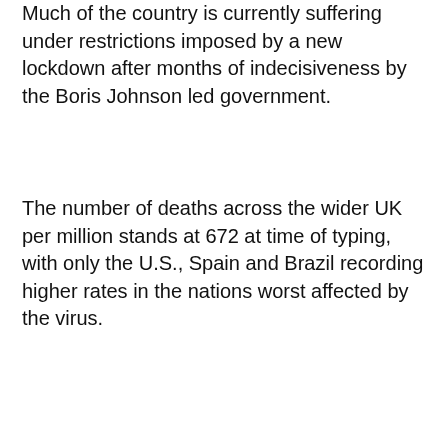Much of the country is currently suffering under restrictions imposed by a new lockdown after months of indecisiveness by the Boris Johnson led government.
The number of deaths across the wider UK per million stands at 672 at time of typing, with only the U.S., Spain and Brazil recording higher rates in the nations worst affected by the virus.